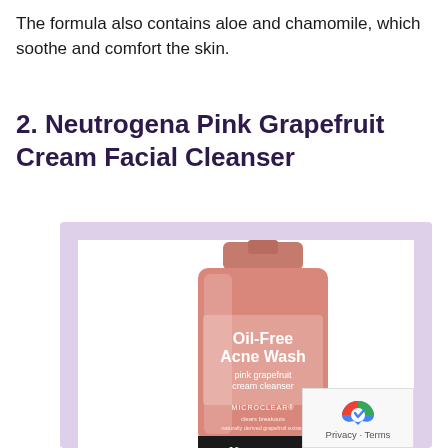The formula also contains aloe and chamomile, which soothe and comfort the skin.
2. Neutrogena Pink Grapefruit Cream Facial Cleanser
[Figure (photo): Neutrogena Oil-Free Acne Wash Pink Grapefruit Cream Cleanser product tube, shown against a lavender and white framed background. The pink tube displays 'Oil-Free Acne Wash pink grapefruit cream cleanser' and the Neutrogena brand name at the bottom.]